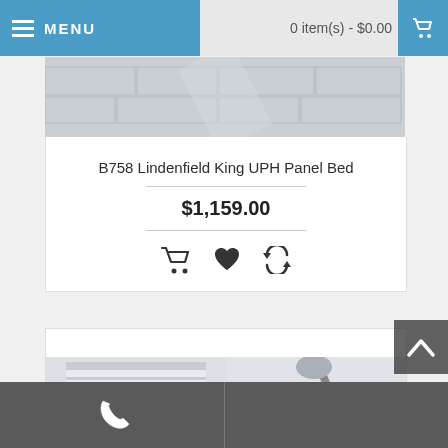MENU   0 item(s) - $0.00
[Figure (photo): Partial product image showing stone/wall texture background]
B758 Lindenfield King UPH Panel Bed
$1,159.00
[Figure (photo): Second product card with partial furniture image visible]
Phone contact bar at bottom